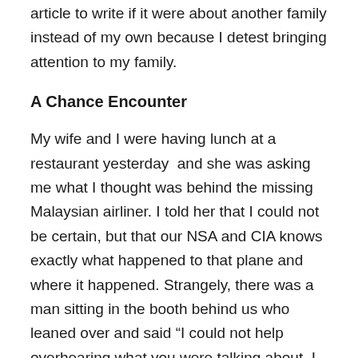article to write if it were about another family instead of my own because I detest bringing attention to my family.
A Chance Encounter
My wife and I were having lunch at a restaurant yesterday  and she was asking me what I thought was behind the missing Malaysian airliner. I told her that I could not be certain, but that our NSA and CIA knows exactly what happened to that plane and where it happened. Strangely, there was a man sitting in the booth behind us who leaned over and said “I could not help overhearing what you were talking about. I used to work for DARPA before